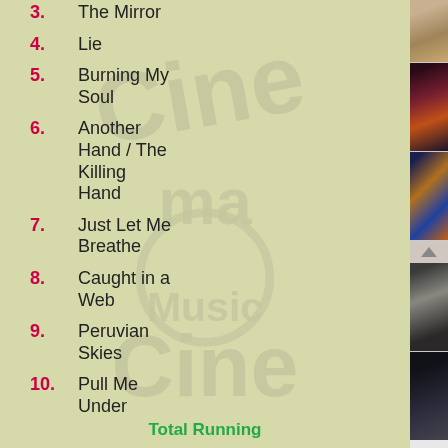3. The Mirror
4. Lie
5. Burning My Soul
6. Another Hand / The Killing Hand
7. Just Let Me Breathe
8. Caught in a Web
9. Peruvian Skies
10. Pull Me Under
Total Running
[Figure (photo): Album art thumbnails on right side]
[Figure (logo): Watermark logo on left background]